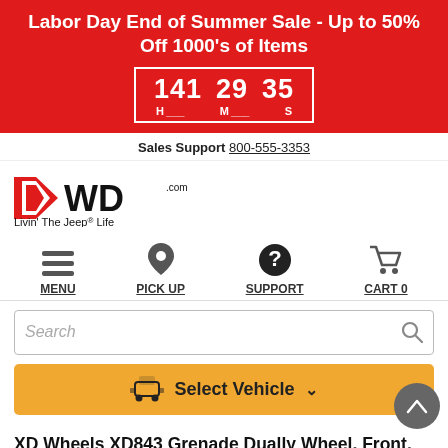Labor Day End of Summer Sale - Up to 50% Off 1000's of Items
[Figure (infographic): Countdown timer showing 141 H, 29 M, 35 S in a white-bordered box on red background]
Sales Support 800-555-3353
[Figure (logo): 4WD.com logo with red/black chevron and 'Livin' The Jeep Life' tagline]
[Figure (infographic): Navigation bar with MENU (hamburger), PICK UP (pin), SUPPORT (question circle), CART 0 (cart) icons]
[Figure (screenshot): Search bar with placeholder text 'Search' and magnifier icon]
[Figure (infographic): Yellow 'Select Vehicle' button with Jeep icon and dropdown arrow, and gray back-to-top circle button]
XD Wheels XD843 Grenade Dually Wheel, Front, 20x8.25 with 8x200 Bolt Pattern - Gloss Black Milled -